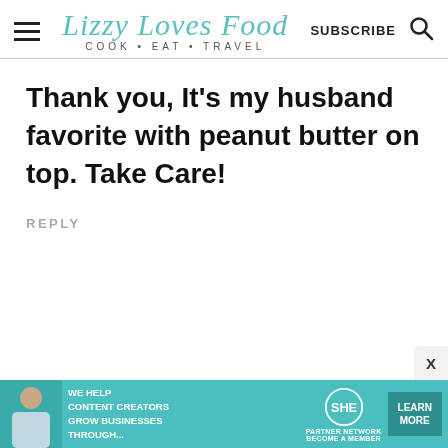Lizzy Loves Food — COOK • EAT • TRAVEL — SUBSCRIBE
Thank you, It's my husband favorite with peanut butter on top. Take Care!
REPLY
[Figure (infographic): Advertisement banner: SHE Media Partner Network – WE HELP CONTENT CREATORS GROW BUSINESSES THROUGH... LEARN MORE BECOME A MEMBER]